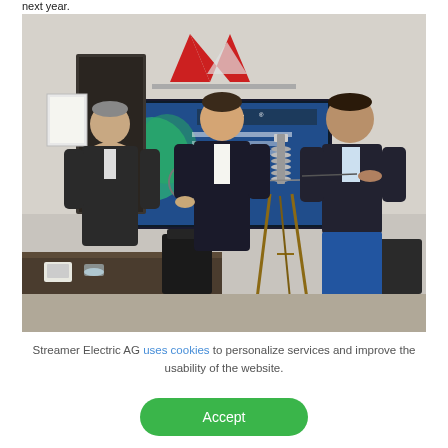next year.
[Figure (photo): Three men standing in a meeting room. A large screen in the background shows a Streamer presentation. The middle person and the right person are holding a demonstration device (a lightning arrester on a wooden easel). A logo is visible on the wall above the screen.]
Streamer Electric AG uses cookies to personalize services and improve the usability of the website.
Accept